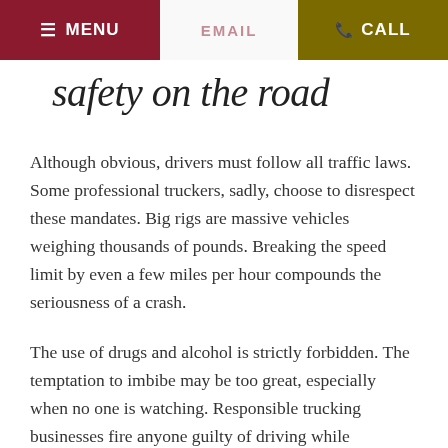MENU | EMAIL | CALL
safety on the road
Although obvious, drivers must follow all traffic laws. Some professional truckers, sadly, choose to disrespect these mandates. Big rigs are massive vehicles weighing thousands of pounds. Breaking the speed limit by even a few miles per hour compounds the seriousness of a crash.
The use of drugs and alcohol is strictly forbidden. The temptation to imbibe may be too great, especially when no one is watching. Responsible trucking businesses fire anyone guilty of driving while inebriated.
Ti...